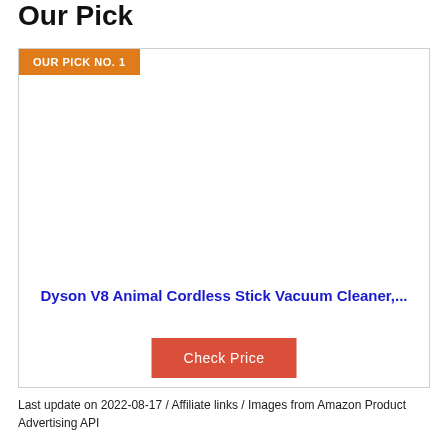Our Pick
[Figure (other): Product card with 'OUR PICK NO. 1' orange badge, empty product image area, product title in blue, and a red 'Check Price' button]
Dyson V8 Animal Cordless Stick Vacuum Cleaner,...
Check Price
Last update on 2022-08-17 / Affiliate links / Images from Amazon Product Advertising API